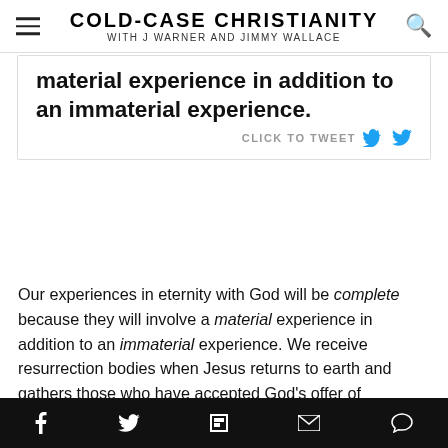COLD-CASE CHRISTIANITY with J Warner and Jimmy Wallace
material experience in addition to an immaterial experience. CLICK TO TWEET
Our experiences in eternity with God will be complete because they will involve a material experience in addition to an immaterial experience. We receive resurrection bodies when Jesus returns to earth and gathers those who have accepted God's offer of Salvation. Our resurrection bodies will then allow us to move, eat, see, feel, and speak as part of our life with God. Our experience in the afterlife will be comprehensive and robust, due in large part to our resurrection bodies.
Social share bar: Facebook, Twitter, Flipboard, Email, Comment